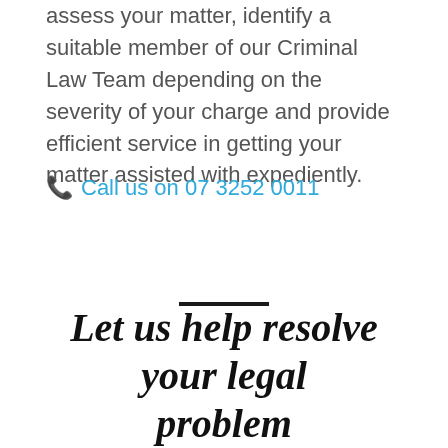assess your matter, identify a suitable member of our Criminal Law Team depending on the severity of your charge and provide efficient service in getting your matter assisted with expediently.
📞 Call us on 07 3252 0011
Let us help resolve your legal problem